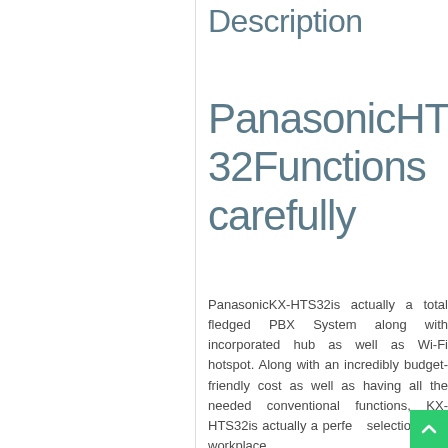Description
PanasonicHTS32Functions carefully
PanasonicKX-HTS32is actually a total fledged PBX System along with incorporated hub as well as Wi-Fi hotspot. Along with an incredibly budget-friendly cost as well as having all the needed conventional functions, KX-HTS32is actually a perfe selection as a workplace